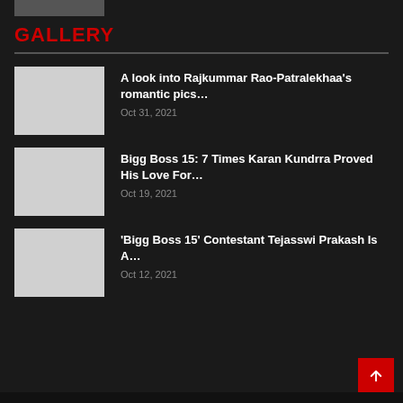[Figure (photo): Partially visible image at top left]
GALLERY
A look into Rajkummar Rao-Patralekhaa's romantic pics… Oct 31, 2021
Bigg Boss 15: 7 Times Karan Kundrra Proved His Love For… Oct 19, 2021
'Bigg Boss 15' Contestant Tejasswi Prakash Is A… Oct 12, 2021